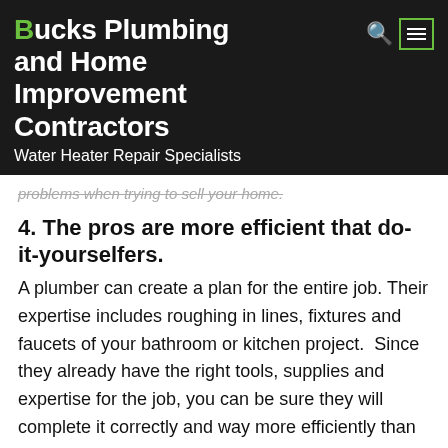Bucks Plumbing and Home Improvement Contractors
Water Heater Repair Specialists
problems when trying to sell your home.
4. The pros are more efficient that do-it-yourselfers.
A plumber can create a plan for the entire job.  Their expertise includes roughing in lines, fixtures and faucets of your bathroom or kitchen project.  Since they already have the right tools, supplies and expertise for the job, you can be sure they will complete it correctly and way more efficiently than someone trying to learn as they go. Do-it-youselfers could find themselves over their heads. You might end up spending more time and money in the end or worse, standing in a flooded basement in the midst of a plumbing